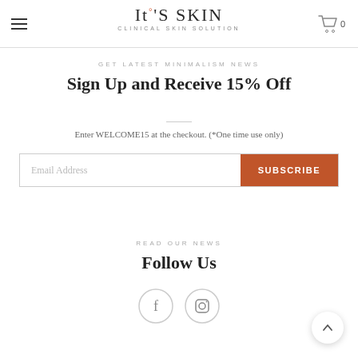[Figure (logo): It'S SKIN - Clinical Skin Solution logo with hamburger menu and shopping cart (0 items) in header]
GET LATEST MINIMALISM NEWS
Sign Up and Receive 15% Off
Enter WELCOME15 at the checkout. (*One time use only)
[Figure (other): Email address input field with orange SUBSCRIBE button]
READ OUR NEWS
Follow Us
[Figure (other): Facebook and Instagram social media icon circles]